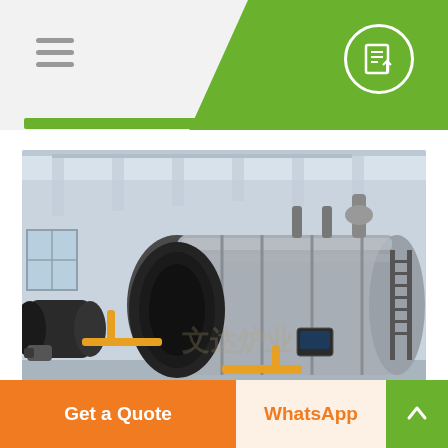[Figure (photo): Industrial boiler equipment in a factory setting — large cylindrical metallic steam/hot water boilers with orange/yellow gas pipes, burners, and access ladders, inside a grey industrial building with white roof beams.]
Industrial Electric Central
Get a Quote
WhatsApp